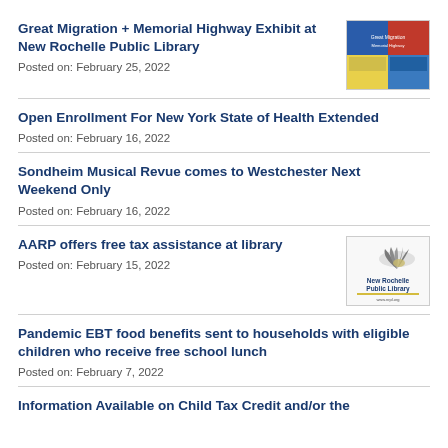Great Migration + Memorial Highway Exhibit at New Rochelle Public Library
Posted on: February 25, 2022
Open Enrollment For New York State of Health Extended
Posted on: February 16, 2022
Sondheim Musical Revue comes to Westchester Next Weekend Only
Posted on: February 16, 2022
AARP offers free tax assistance at library
Posted on: February 15, 2022
Pandemic EBT food benefits sent to households with eligible children who receive free school lunch
Posted on: February 7, 2022
Information Available on Child Tax Credit and/or the